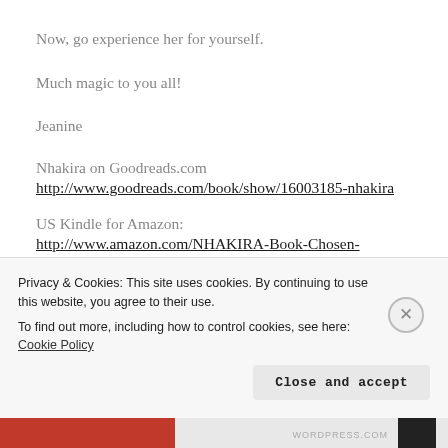Now, go experience her for yourself.
Much magic to you all!
Jeanine
Nhakira on Goodreads.com
http://www.goodreads.com/book/show/16003185-nhakira
US Kindle for Amazon:
http://www.amazon.com/NHAKIRA-Book-Chosen-
Privacy & Cookies: This site uses cookies. By continuing to use this website, you agree to their use.
To find out more, including how to control cookies, see here: Cookie Policy
Close and accept